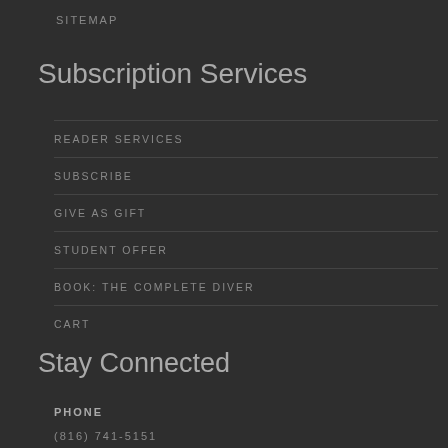SITEMAP
Subscription Services
READER SERVICES
SUBSCRIBE
GIVE AS GIFT
STUDENT OFFER
BOOK: THE COMPLETE DIVER
CART
Stay Connected
PHONE
(816) 741-5151